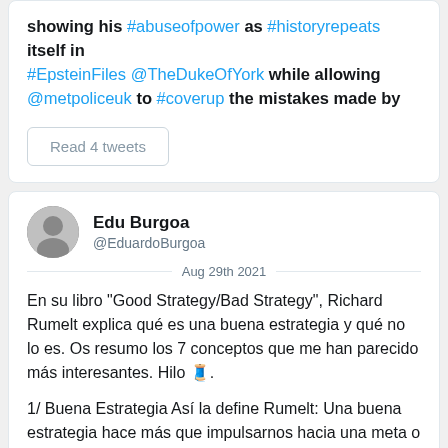showing his #abuseofpower as #historyrepeats itself in #EpsteinFiles @TheDukeOfYork while allowing @metpoliceuk to #coverup the mistakes made by
Read 4 tweets
Edu Burgoa @EduardoBurgoa Aug 29th 2021
En su libro "Good Strategy/Bad Strategy", Richard Rumelt explica qué es una buena estrategia y qué no lo es. Os resumo los 7 conceptos que me han parecido más interesantes. Hilo 🧵.
1/ Buena Estrategia Así la define Rumelt: Una buena estrategia hace más que impulsarnos hacia una meta o una visión. Una buena estrategia reconoce honestamente los